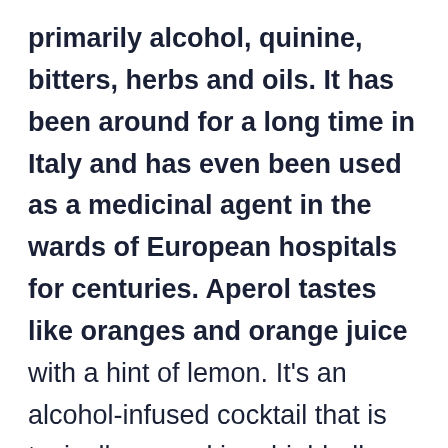primarily alcohol, quinine, bitters, herbs and oils. It has been around for a long time in Italy and has even been used as a medicinal agent in the wards of European hospitals for centuries. Aperol tastes like oranges and orange juice with a hint of lemon. It's an alcohol-infused cocktail that is typically served in a highball glass. Aperol is a popular drink that tastes like a mixture of orange and bitter, sweet,